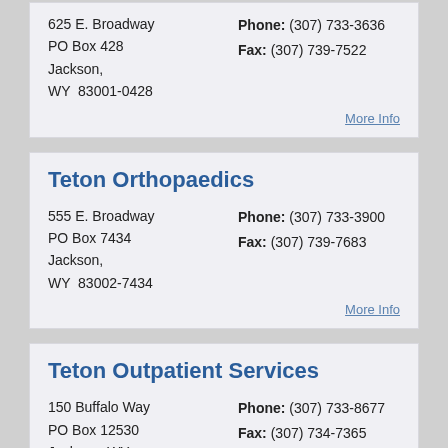625 E. Broadway
PO Box 428
Jackson,
WY  83001-0428
Phone: (307) 733-3636
Fax: (307) 739-7522
More Info
Teton Orthopaedics
555 E. Broadway
PO Box 7434
Jackson,
WY  83002-7434
Phone: (307) 733-3900
Fax: (307) 739-7683
More Info
Teton Outpatient Services
150 Buffalo Way
PO Box 12530
Jackson, WY
Phone: (307) 733-8677
Fax: (307) 734-7365
More Info